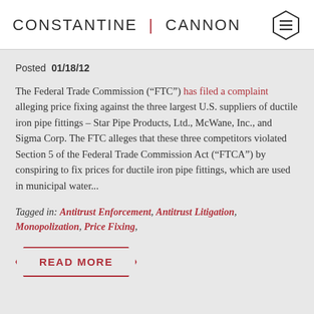CONSTANTINE | CANNON
Posted 01/18/12
The Federal Trade Commission (“FTC”) has filed a complaint alleging price fixing against the three largest U.S. suppliers of ductile iron pipe fittings – Star Pipe Products, Ltd., McWane, Inc., and Sigma Corp. The FTC alleges that these three competitors violated Section 5 of the Federal Trade Commission Act ("FTCA") by conspiring to fix prices for ductile iron pipe fittings, which are used in municipal water...
Tagged in: Antitrust Enforcement, Antitrust Litigation, Monopolization, Price Fixing,
READ MORE